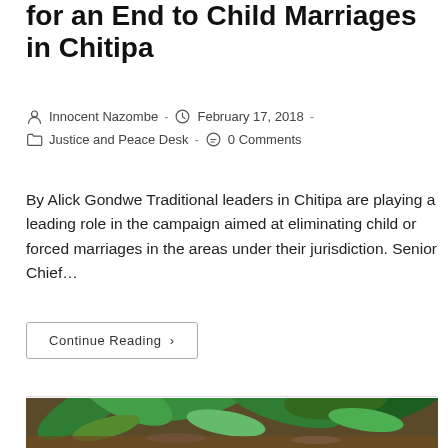for an End to Child Marriages in Chitipa
Innocent Nazombe  ·  February 17, 2018  ·  Justice and Peace Desk  ·  0 Comments
By Alick Gondwe Traditional leaders in Chitipa are playing a leading role in the campaign aimed at eliminating child or forced marriages in the areas under their jurisdiction. Senior Chief…
Continue Reading ›
[Figure (photo): Close-up photo of green maize/corn plants growing in a field with soil visible at the base]